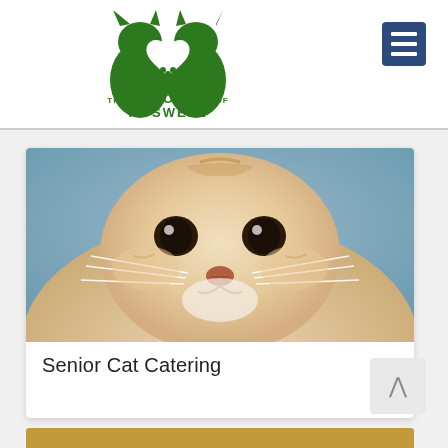[Figure (logo): The Cat Clinic of Roswell logo — two green cat silhouettes facing each other forming a heart shape, with green text reading THE CAT CLINIC OF ROSWELL]
[Figure (photo): Close-up photo of a cream/beige tabby cat's face with dark eyes looking directly at the camera]
Senior Cat Catering
[Figure (photo): Partial bottom photo, appears to be a cat in a golden/yellow toned setting]